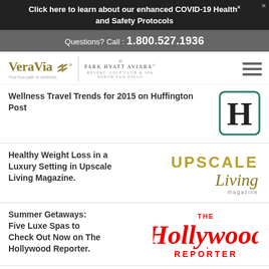Click here to learn about our enhanced COVID-19 Health and Safety Protocols
Questions? Call : 1.800.527.1936
[Figure (logo): VeraVia logo with tagline 'Your true path to wellness.' and Park Hyatt Aviara Resort, Golf Club & Spa North San Diego logo, with hamburger menu icon]
Wellness Travel Trends for 2015 on Huffington Post
[Figure (logo): Huffington Post H logo — serif capital H in a teal/dark green rounded square border]
Healthy Weight Loss in a Luxury Setting in Upscale Living Magazine.
[Figure (logo): Upscale Living magazine logo in gold/olive color with italic 'Living' script and 'magazine' below]
Summer Getaways: Five Luxe Spas to Check Out Now on The Hollywood Reporter.
[Figure (logo): The Hollywood Reporter logo in red with 'THE' above 'Hollywood' in bold italic and 'REPORTER' below]